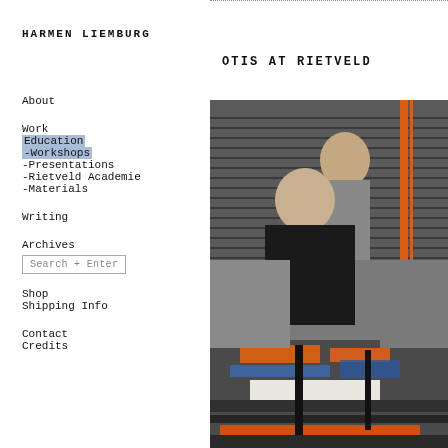HARMEN LIEMBURG
OTIS AT RIETVELD
About
Work
Education
-Workshops
-Presentations
-Rietveld Academie
-Materials
Writing
Archives
Search + Enter
Shop
Shipping Info
Contact
Credits
[Figure (photo): Two people working at a screen printing press, pulling squeegees over colorful ink on paper. Industrial setting with metal shelving in the background.]